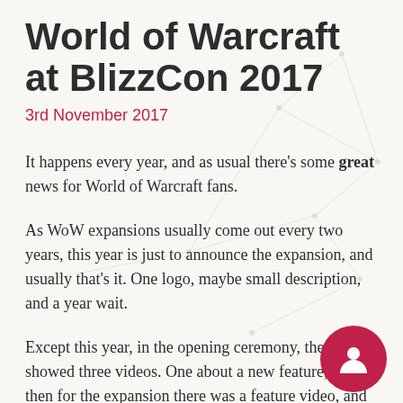World of Warcraft at BlizzCon 2017
3rd November 2017
It happens every year, and as usual there's some great news for World of Warcraft fans.
As WoW expansions usually come out every two years, this year is just to announce the expansion, and usually that's it. One logo, maybe small description, and a year wait.
Except this year, in the opening ceremony, they showed three videos. One about a new feature, and then for the expansion there was a feature video, and even a cinematic trailer!